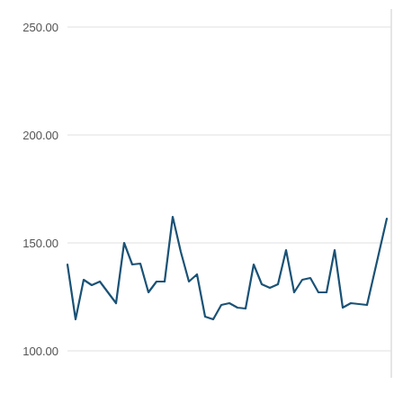[Figure (continuous-plot): A line chart showing a time series with values fluctuating roughly between 100 and 180, with a sharp spike near the end rising to approximately 165. Y-axis labels: 100.00, 150.00, 200.00, 250.00. No x-axis labels visible.]